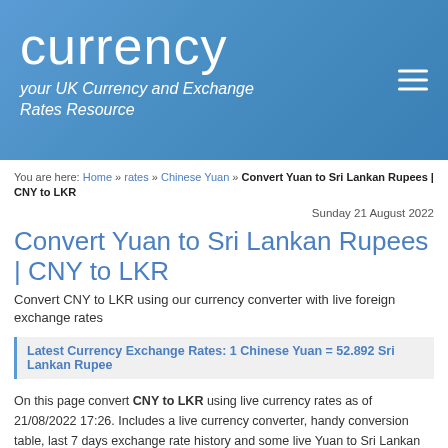currency — your UK Currency and Exchange Rates Resource
You are here: Home » rates » Chinese Yuan » Convert Yuan to Sri Lankan Rupees | CNY to LKR
Sunday 21 August 2022
Convert Yuan to Sri Lankan Rupees | CNY to LKR
Convert CNY to LKR using our currency converter with live foreign exchange rates
Latest Currency Exchange Rates: 1 Chinese Yuan = 52.892 Sri Lankan Rupee
On this page convert CNY to LKR using live currency rates as of 21/08/2022 17:26. Includes a live currency converter, handy conversion table, last 7 days exchange rate history and some live Yuan to Sri Lankan Rupees charts. Invert these currencies?
Currency Converter
Use this currency calulator for live currency conversions as you type.